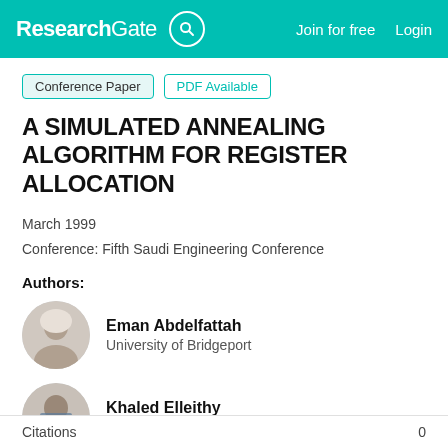ResearchGate  Join for free  Login
Conference Paper  PDF Available
A SIMULATED ANNEALING ALGORITHM FOR REGISTER ALLOCATION
March 1999
Conference: Fifth Saudi Engineering Conference
Authors:
Eman Abdelfattah
University of Bridgeport
Khaled Elleithy
University of Bridgeport
Citations  0